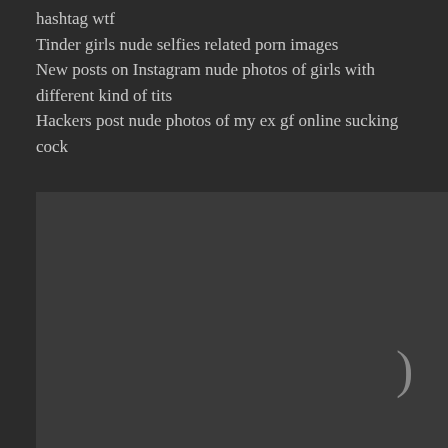hashtag wtf
Tinder girls nude selfies related porn images
New posts on Instagram nude photos of girls with different kind of tits
Hackers post nude photos of my ex gf online sucking cock
[Figure (other): Dark gray rectangular image placeholder with a closing parenthesis character visible in the lower right area]